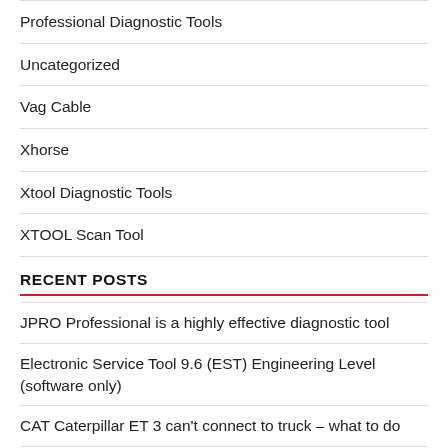Professional Diagnostic Tools
Uncategorized
Vag Cable
Xhorse
Xtool Diagnostic Tools
XTOOL Scan Tool
RECENT POSTS
JPRO Professional is a highly effective diagnostic tool
Electronic Service Tool 9.6 (EST) Engineering Level (software only)
CAT Caterpillar ET 3 can't connect to truck – what to do
Ford Transit P246C Error Solved by DPF
FC200 is dedicated to the new generation ECU